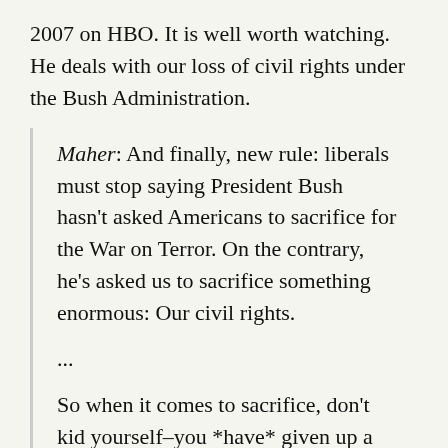2007 on HBO. It is well worth watching. He deals with our loss of civil rights under the Bush Administration.
Maher: And finally, new rule: liberals must stop saying President Bush hasn't asked Americans to sacrifice for the War on Terror. On the contrary, he's asked us to sacrifice something enormous: Our civil rights.
...
So when it comes to sacrifice, don't kid yourself–you *have* given up a lot! You've given up faith in your government's honesty, the good will of people overseas, and 6/10 of the Bill of Rights. Here's what you've sacrificed: search and seizure.